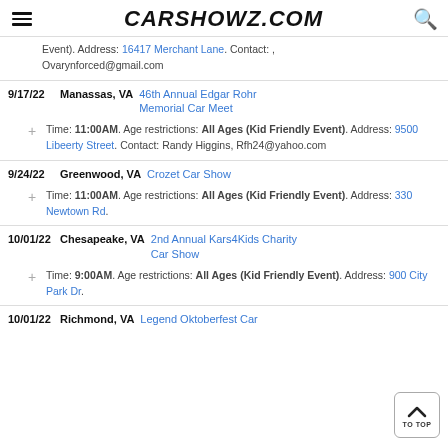CARSHOWZ.COM
Event). Address: 16417 Merchant Lane. Contact: , Ovarynforced@gmail.com
9/17/22 | Manassas, VA | 46th Annual Edgar Rohr Memorial Car Meet
Time: 11:00AM. Age restrictions: All Ages (Kid Friendly Event). Address: 9500 Libeerty Street. Contact: Randy Higgins, Rfh24@yahoo.com
9/24/22 | Greenwood, VA | Crozet Car Show
Time: 11:00AM. Age restrictions: All Ages (Kid Friendly Event). Address: 330 Newtown Rd.
10/01/22 | Chesapeake, VA | 2nd Annual Kars4Kids Charity Car Show
Time: 9:00AM. Age restrictions: All Ages (Kid Friendly Event). Address: 900 City Park Dr.
10/01/22 | Richmond, VA | Legend Oktoberfest Car...